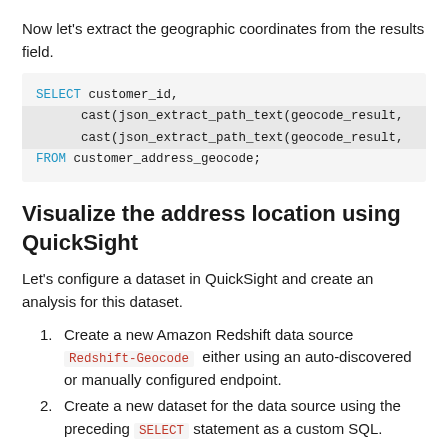Now let's extract the geographic coordinates from the results field.
[Figure (screenshot): SQL code block showing SELECT customer_id, cast(json_extract_path_text(geocode_result, ...) twice, FROM customer_address_geocode;]
Visualize the address location using QuickSight
Let's configure a dataset in QuickSight and create an analysis for this dataset.
1. Create a new Amazon Redshift data source Redshift-Geocode either using an auto-discovered or manually configured endpoint.
2. Create a new dataset for the data source using the preceding SELECT statement as a custom SQL.